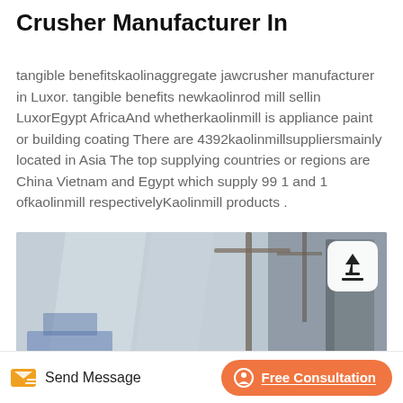Crusher Manufacturer In
tangible benefitskaolinaggregate jawcrusher manufacturer in Luxor. tangible benefits newkaolinrod mill sellin LuxorEgypt AfricaAnd whetherkaolinmill is appliance paint or building coating There are 4392kaolinmillsuppliersmainly located in Asia The top supplying countries or regions are China Vietnam and Egypt which supply 99 1 and 1 ofkaolinmill respectivelyKaolinmill products .
[Figure (photo): Industrial crusher or mill facility with cranes, silos, and industrial structures]
Send Message   Free Consultation